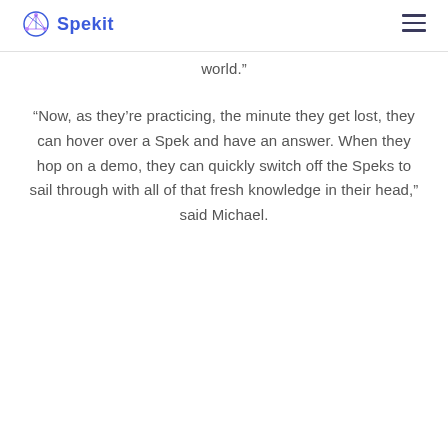Spekit
world.”
“Now, as they’re practicing, the minute they get lost, they can hover over a Spek and have an answer. When they hop on a demo, they can quickly switch off the Speks to sail through with all of that fresh knowledge in their head,” said Michael.